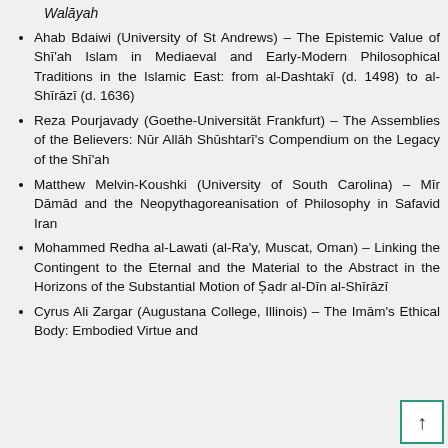Walāyah
Ahab Bdaiwi (University of St Andrews) – The Epistemic Value of Shī'ah Islam in Mediaeval and Early-Modern Philosophical Traditions in the Islamic East: from al-Dashtakī (d. 1498) to al-Shīrāzī (d. 1636)
Reza Pourjavady (Goethe-Universität Frankfurt) – The Assemblies of the Believers: Nūr Allāh Shūshtarī's Compendium on the Legacy of the Shī'ah
Matthew Melvin-Koushki (University of South Carolina) – Mīr Dāmād and the Neopythagoreanisation of Philosophy in Safavid Iran
Mohammed Redha al-Lawati (al-Ra'y, Muscat, Oman) – Linking the Contingent to the Eternal and the Material to the Abstract in the Horizons of the Substantial Motion of Ṣadr al-Dīn al-Shīrāzī
Cyrus Ali Zargar (Augustana College, Illinois) – The Imām's Ethical Body: Embodied Virtue and